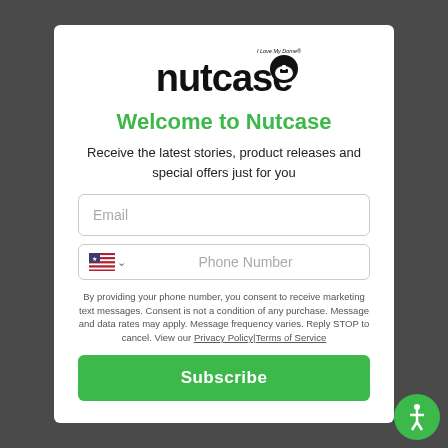[Figure (logo): Nutcase helmet brand logo with text 'nutcase' and helmet icon, 'I Love My Dome' tagline]
Welcome to Nutcase
Receive the latest stories, product releases and special offers just for you
[Figure (screenshot): Email input field with placeholder text 'Email']
[Figure (screenshot): Phone number input field with US flag, dropdown chevron, and placeholder text 'Phone Number']
By providing your phone number, you consent to receive marketing text messages. Consent is not a condition of any purchase. Message and data rates may apply. Message frequency varies. Reply STOP to cancel. View our Privacy Policy|Terms of Service
[Figure (other): Green Subscribe button]
[Figure (illustration): Green circular accessibility icon button in bottom right corner]